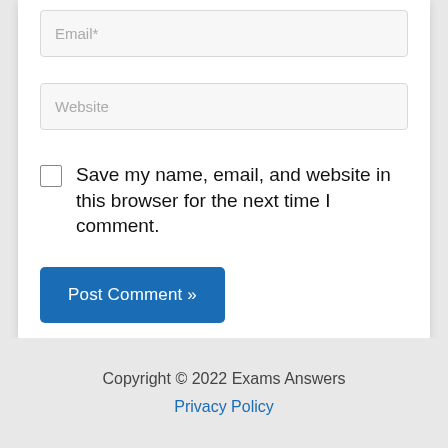[Figure (screenshot): Email input field with placeholder text 'Email*']
[Figure (screenshot): Website input field with placeholder text 'Website']
Save my name, email, and website in this browser for the next time I comment.
[Figure (screenshot): Blue 'Post Comment »' button]
Copyright © 2022 Exams Answers
Privacy Policy